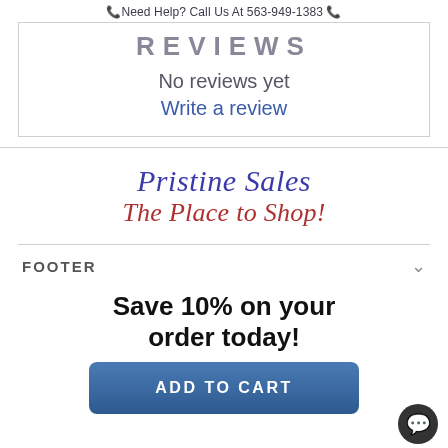📞Need Help? Call Us At 563-949-1383 📞
REVIEWS
No reviews yet
Write a review
[Figure (logo): Pristine Sales - The Place to Shop! logo in italic serif font, blue and red]
FOOTER
Save 10% on your order today!
ADD TO CART